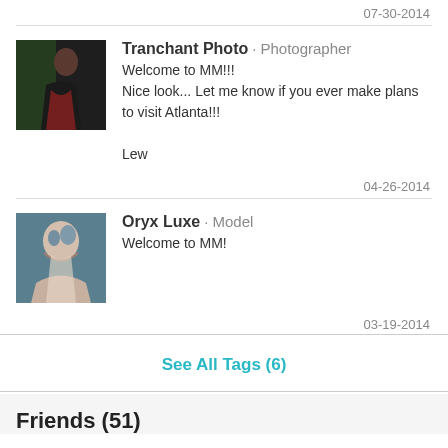07-30-2014
[Figure (photo): Profile photo of Tranchant Photo, a dark fashion photo with green and dark tones]
Tranchant Photo · Photographer
Welcome to MM!!!
Nice look... Let me know if you ever make plans to visit Atlanta!!!

Lew
04-26-2014
[Figure (photo): Profile photo of Oryx Luxe, a model with blue hair]
Oryx Luxe · Model
Welcome to MM!
03-19-2014
See All Tags (6)
Friends (51)